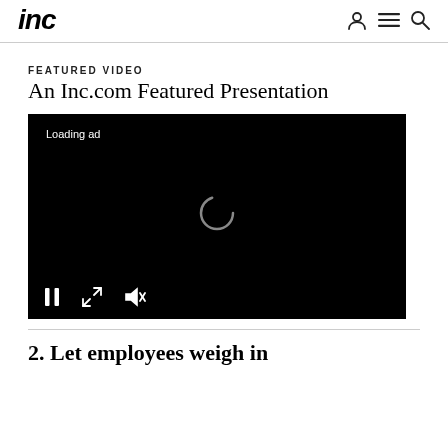Inc.com header with logo and navigation icons
FEATURED VIDEO
An Inc.com Featured Presentation
[Figure (screenshot): Black video player with 'Loading ad' text, a spinning loading indicator in the center, and playback controls (pause, expand, mute) at the bottom left.]
2. Let employees weigh in